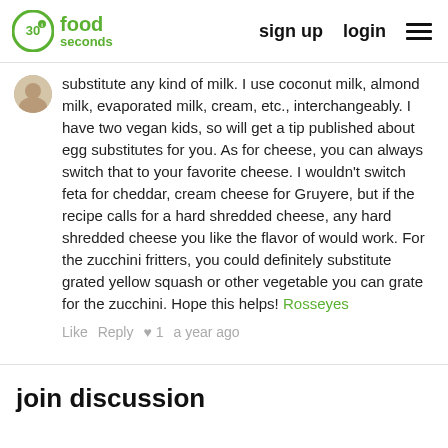30 seconds food | sign up | login
substitute any kind of milk. I use coconut milk, almond milk, evaporated milk, cream, etc., interchangeably. I have two vegan kids, so will get a tip published about egg substitutes for you. As for cheese, you can always switch that to your favorite cheese. I wouldn't switch feta for cheddar, cream cheese for Gruyere, but if the recipe calls for a hard shredded cheese, any hard shredded cheese you like the flavor of would work. For the zucchini fritters, you could definitely substitute grated yellow squash or other vegetable you can grate for the zucchini. Hope this helps! Rosseyes
Like  Reply  ♥ 1  a year ago
join discussion